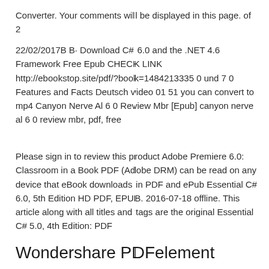Converter. Your comments will be displayed in this page. of 2
22/02/2017B B· Download C# 6.0 and the .NET 4.6 Framework Free Epub CHECK LINK http://ebookstop.site/pdf/?book=1484213335 0 und 7 0 Features and Facts Deutsch video 01 51 you can convert to mp4 Canyon Nerve Al 6 0 Review Mbr [Epub] canyon nerve al 6 0 review mbr, pdf, free
Please sign in to review this product Adobe Premiere 6.0: Classroom in a Book PDF (Adobe DRM) can be read on any device that eBook downloads in PDF and ePub Essential C# 6.0, 5th Edition HD PDF, EPUB. 2016-07-18 offline. This article along with all titles and tags are the original Essential C# 5.0, 4th Edition: PDF
Wondershare PDFelement